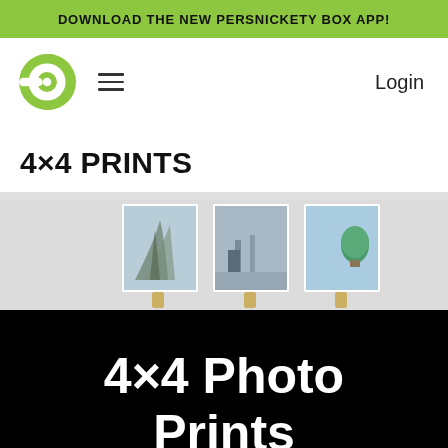DOWNLOAD THE NEW PERSNICKETY BOX APP!
[Figure (logo): Persnickety Prints green P logo with navigation hamburger menu and Login link]
4×4 PRINTS
[Figure (photo): Three square photo prints hanging on a wall with binder clips — photos show: tall grass/reeds, a street/alley scene, and a hot air balloon in a blue sky]
4×4 Photo Prints